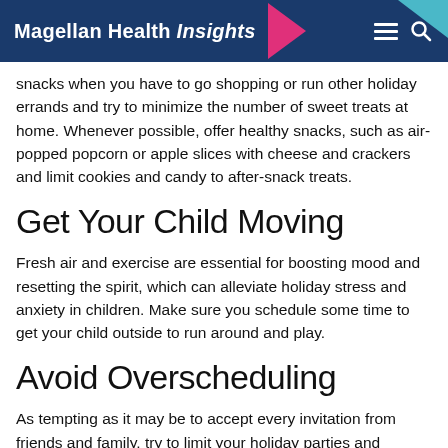Magellan Health Insights
snacks when you have to go shopping or run other holiday errands and try to minimize the number of sweet treats at home. Whenever possible, offer healthy snacks, such as air-popped popcorn or apple slices with cheese and crackers and limit cookies and candy to after-snack treats.
Get Your Child Moving
Fresh air and exercise are essential for boosting mood and resetting the spirit, which can alleviate holiday stress and anxiety in children. Make sure you schedule some time to get your child outside to run around and play.
Avoid Overscheduling
As tempting as it may be to accept every invitation from friends and family, try to limit your holiday parties and activities so that you and your child are not overwhelmed. A couple of events a week may be fine, but having an obligation every day can lead to holiday stress and anxiety in children.